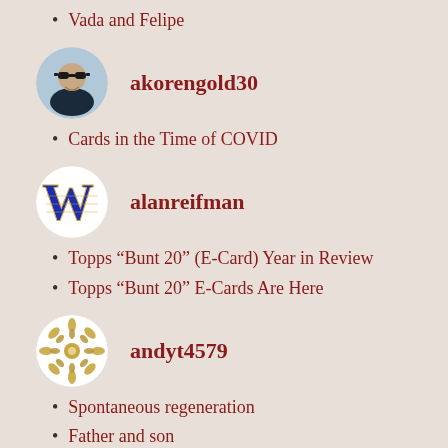Vada and Felipe
akorengold30
Cards in the Time of COVID
alanreifman
Topps “Bunt 20” (E-Card) Year in Review
Topps “Bunt 20” E-Cards Are Here
andyt4579
Spontaneous regeneration
Father and son